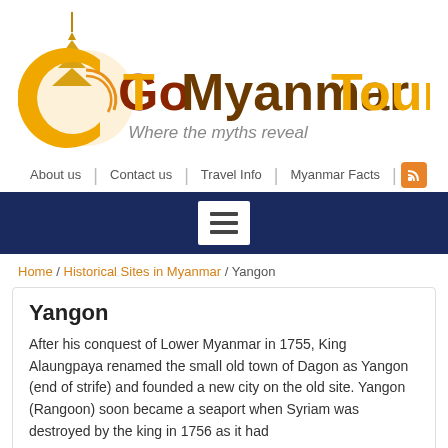[Figure (logo): GoMyanmarTours logo with golden pagoda icon and text 'GoMyanmarTours Where the myths reveal']
About us | Contact us | Travel Info | Myanmar Facts
[Figure (other): Dark navy blue banner with white menu/hamburger icon box in the center]
Home / Historical Sites in Myanmar / Yangon
Yangon
After his conquest of Lower Myanmar in 1755, King Alaungpaya renamed the small old town of Dagon as Yangon (end of strife) and founded a new city on the old site. Yangon (Rangoon) soon became a seaport when Syriam was destroyed by the king in 1756 as it had